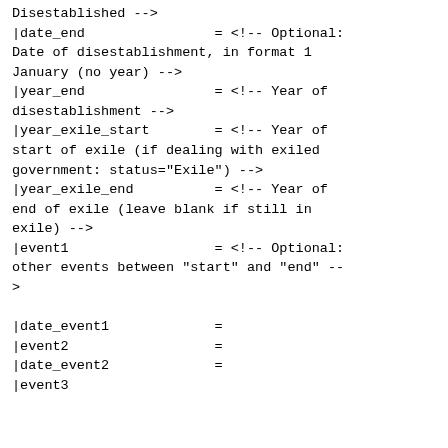Disestablished -->
|date_end                = <!-- Optional: Date of disestablishment, in format 1 January (no year) -->
|year_end                = <!-- Year of disestablishment -->
|year_exile_start        = <!-- Year of start of exile (if dealing with exiled government: status="Exile") -->
|year_exile_end          = <!-- Year of end of exile (leave blank if still in exile) -->
|event1                  = <!-- Optional: other events between "start" and "end" -->
|date_event1             =
|event2                  =
|date_event2             =
|event3